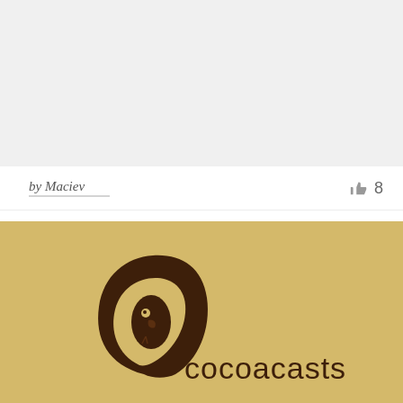[Figure (other): Large light gray rectangular image area at the top of the page]
by Maciev
8
[Figure (logo): Cocoacasts logo on golden/tan background. Shows a brown stylized cocoa pod or bean shape with a small bird/creature inside, next to the text 'cocoacasts' in dark brown sans-serif lettering.]